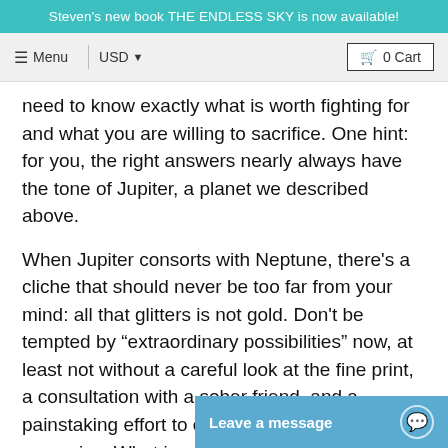Steven's new book THE ENDLESS SKY is now available!
need to know exactly what is worth fighting for and what you are willing to sacrifice. One hint: for you, the right answers nearly always have the tone of Jupiter, a planet we described above.
When Jupiter consorts with Neptune, there's a cliche that should never be too far from your mind: all that glitters is not gold. Don't be tempted by “extraordinary possibilities” now, at least not without a careful look at the fine print, a consultation with a sober friend, and a painstaking effort to consider worst-case scenarios. What is really going on here is that a bright new vision is slowly forming inside you. It’s real — or more accurately, it’s going to be real. Don’t mistake its glowing emotional aura for something that is actually, physica...